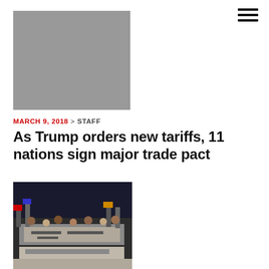[Figure (photo): Gray placeholder image for article about Trump tariffs and trade pact]
MARCH 9, 2018 > STAFF
As Trump orders new tariffs, 11 nations sign major trade pact
[Figure (photo): Protest crowd with banners at immigration rally]
MARCH 19, 2010 > ALISON BOWEN
Immigration Reform Advocates Head to Rally in Washington on Sunday
[Figure (photo): Partial photo of a person, cropped at bottom of page]